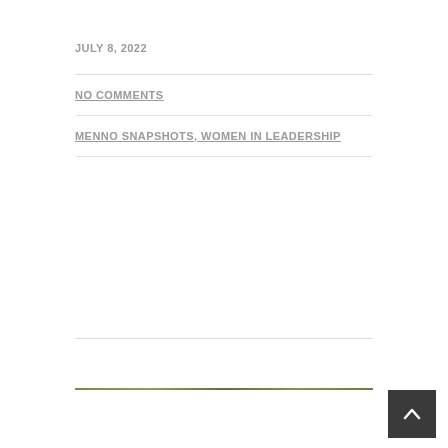JULY 8, 2022
NO COMMENTS
MENNO SNAPSHOTS, WOMEN IN LEADERSHIP